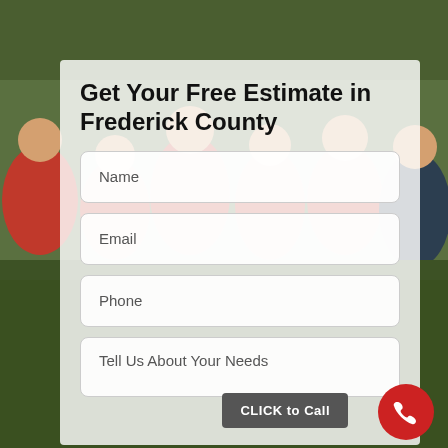[Figure (photo): Group of people in red shirts standing outdoors on grass, serving as background photo]
Get Your Free Estimate in Frederick County
Name
Email
Phone
Tell Us About Your Needs
CLICK to Call